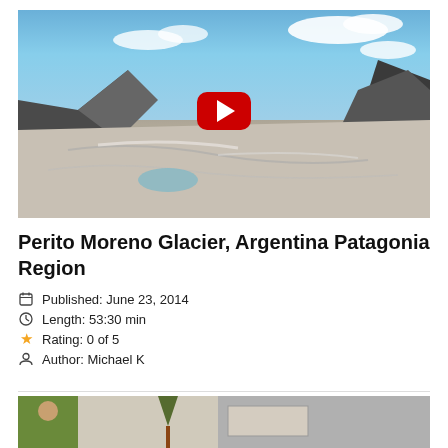[Figure (screenshot): Video thumbnail of Perito Moreno Glacier with a YouTube-style red play button overlay. The image shows a glacier landscape with mountains, blue sky with clouds, and icy terrain in Argentina Patagonia.]
Perito Moreno Glacier, Argentina Patagonia Region
Published: June 23, 2014
Length: 53:30 min
Rating: 0 of 5
Author: Michael K
[Figure (photo): Partial view of another video thumbnail at the bottom of the page, showing people outdoors.]